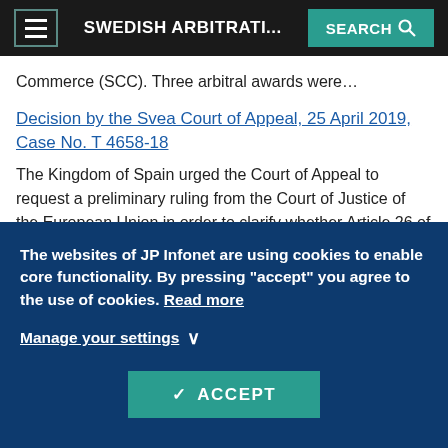SWEDISH ARBITRATI... SEARCH
Commerce (SCC). Three arbitral awards were...
Decision by the Svea Court of Appeal, 25 April 2019, Case No. T 4658-18
The Kingdom of Spain urged the Court of Appeal to request a preliminary ruling from the Court of Justice of the European Union in order to clarify whether Article 26 of the ECT is
The websites of JP Infonet are using cookies to enable core functionality. By pressing "accept" you agree to the use of cookies. Read more
Manage your settings
ACCEPT